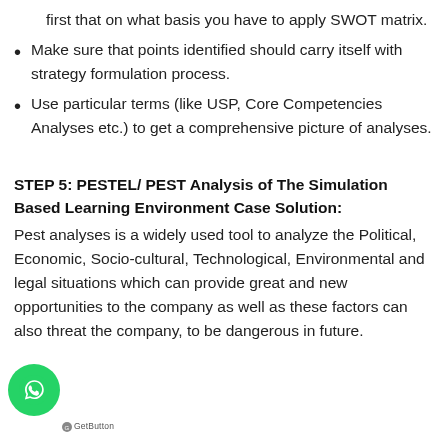first that on what basis you have to apply SWOT matrix.
Make sure that points identified should carry itself with strategy formulation process.
Use particular terms (like USP, Core Competencies Analyses etc.) to get a comprehensive picture of analyses.
STEP 5: PESTEL/ PEST Analysis of The Simulation Based Learning Environment Case Solution:
Pest analyses is a widely used tool to analyze the Political, Economic, Socio-cultural, Technological, Environmental and legal situations which can provide great and new opportunities to the company as well as these factors can also threat the company, to be dangerous in future.